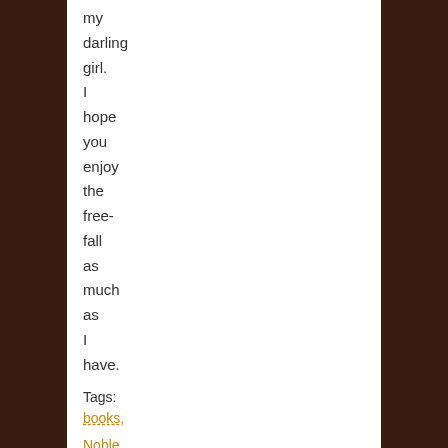my darling girl. I hope you enjoy the free- fall as much as I have.
Tags:
books, Noble Girl, reading
Antics